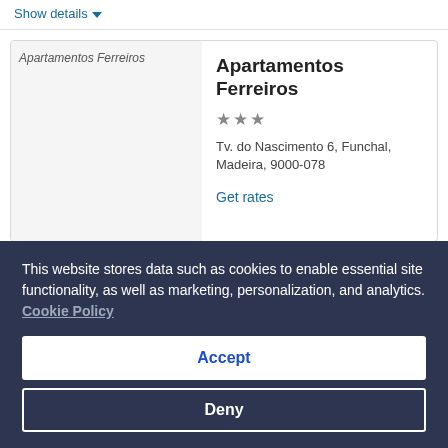Show details
Apartamentos Ferreiros
★★★
Tv. do Nascimento 6, Funchal, Madeira, 9000-078
Get rates
This website stores data such as cookies to enable essential site functionality, as well as marketing, personalization, and analytics. Cookie Policy
Accept
Deny